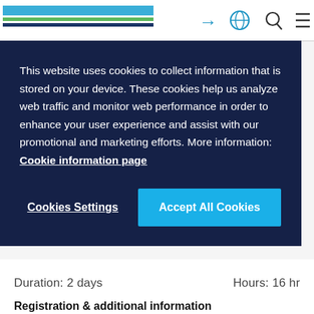[Figure (screenshot): Website navigation bar with logo (blue, green, dark blue horizontal bars), and icons for login, globe, search, and menu]
This website uses cookies to collect information that is stored on your device. These cookies help us analyze web traffic and monitor web performance in order to enhance your user experience and assist with our promotional and marketing efforts. More information: Cookie information page
Cookies Settings
Accept All Cookies
Duration: 2 days
Hours: 16 hr
Registration & additional information